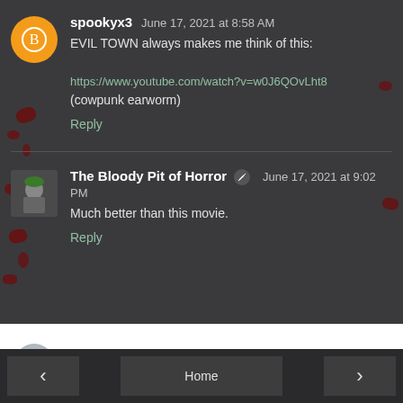spookyx3  June 17, 2021 at 8:58 AM
EVIL TOWN always makes me think of this:

https://www.youtube.com/watch?v=w0J6QOvLht8
(cowpunk earworm)
Reply
The Bloody Pit of Horror  June 17, 2021 at 9:02 PM
Much better than this movie.
Reply
Enter Comment
‹   Home   ›